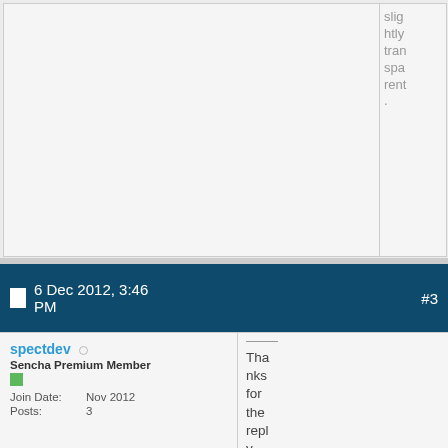slightly transparent.
6 Dec 2012, 3:46 PM  #3
spectdev
Sencha Premium Member
Join Date: Nov 2012
Posts: 3
Thanks for the reply.

Why the need for such feat